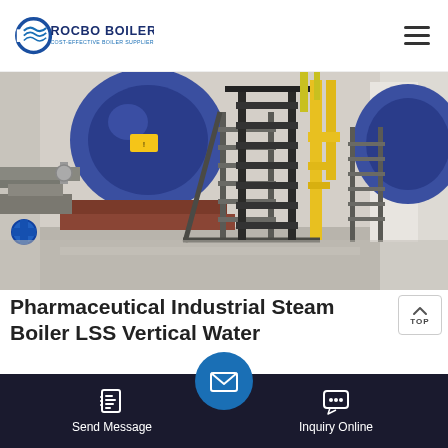ROCBO BOILER — COST-EFFECTIVE BOILER SUPPLIER
[Figure (photo): Industrial boiler room with large blue cylindrical boilers, yellow piping, metal staircases/ladders, and concrete floor in a manufacturing facility.]
Pharmaceutical Industrial Steam Boiler LSS Vertical Water
High quality Pharmaceutical Industrial Steam Boiler LSS Vertical Water Tube Steam Boiler from China, China's leading Industrial … ket, … ct q… … ing high…
Send Message | Inquiry Online